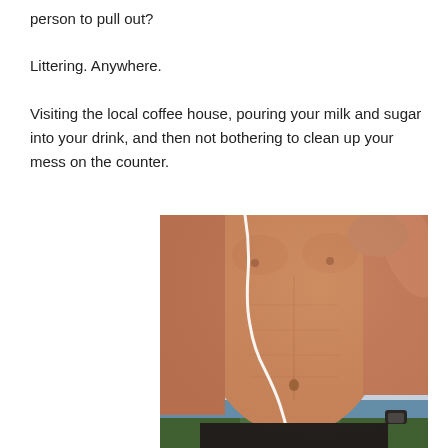person to pull out?
Littering. Anywhere.
Visiting the local coffee house, pouring your milk and sugar into your drink, and then not bothering to clean up your mess on the counter.
[Figure (photo): Shirtless male torso with white earphone cord visible, outdoor background with trees and water, person wearing a watch]